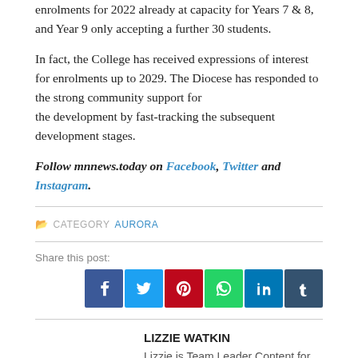enrolments for 2022 already at capacity for Years 7 & 8, and Year 9 only accepting a further 30 students.
In fact, the College has received expressions of interest for enrolments up to 2029. The Diocese has responded to the strong community support for the development by fast-tracking the subsequent development stages.
Follow mnnews.today on Facebook, Twitter and Instagram.
CATEGORY AURORA
Share this post:
[Figure (infographic): Row of six social media share icon buttons: Facebook (blue), Twitter (light blue), Pinterest (red), WhatsApp (green), LinkedIn (dark blue), Tumblr (dark navy)]
LIZZIE WATKIN
Lizzie is Team Leader Content for the Diocese of Maitland-Newcastle.